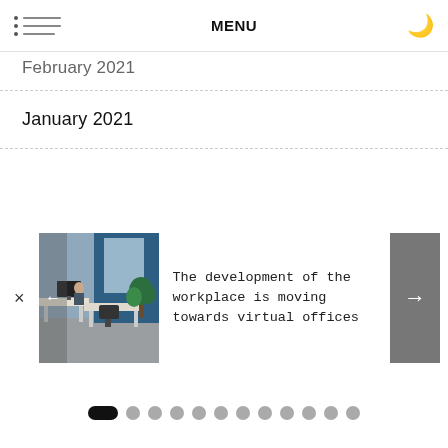MENU
February 2021
January 2021
December 2020
November 2020
October 2020
[Figure (photo): Office interior photo showing workstations and plants]
The development of the workplace is moving towards virtual offices
Pagination dots: 12 dots, first active